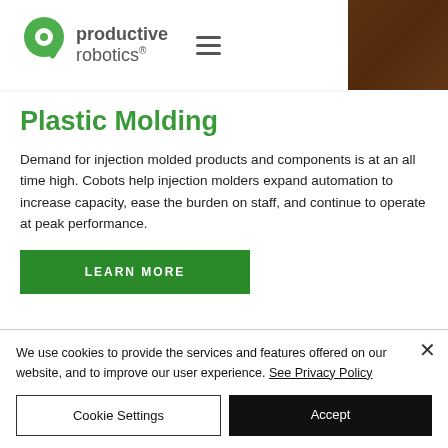[Figure (logo): Productive Robotics logo with green stylized R icon and company name]
[Figure (photo): Partial photo of a person in top-right corner]
Plastic Molding
Demand for injection molded products and components is at an all time high. Cobots help injection molders expand automation to increase capacity, ease the burden on staff, and continue to operate at peak performance.
LEARN MORE
We use cookies to provide the services and features offered on our website, and to improve our user experience. See Privacy Policy
Cookie Settings
Accept